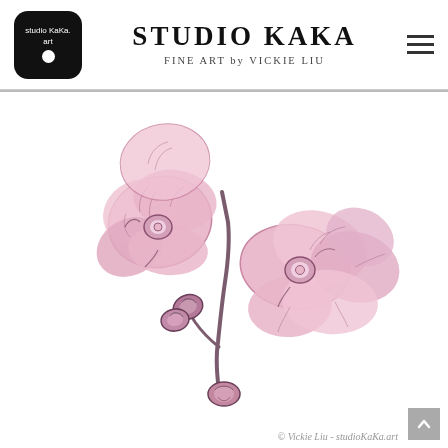Studio KaKa. art — STUDIO KAKA — FINE ART by VICKIE LIU
[Figure (illustration): Watercolor and ink illustration of pink orchid flowers with buds on a stem, painted in a loose sketchy style with pink and mauve tones on white background]
© Vickie Liu - studioKaKa.art